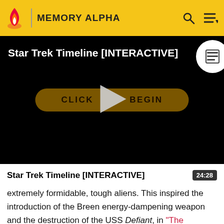MEMORY ALPHA
[Figure (screenshot): Star Trek Timeline [INTERACTIVE] video thumbnail with black background, play button overlay, and 'CLICK TO BEGIN' button]
Star Trek Timeline [INTERACTIVE]
extremely formidable, tough aliens. This inspired the introduction of the Breen energy-dampening weapon and the destruction of the USS Defiant, in "The Changing Face"